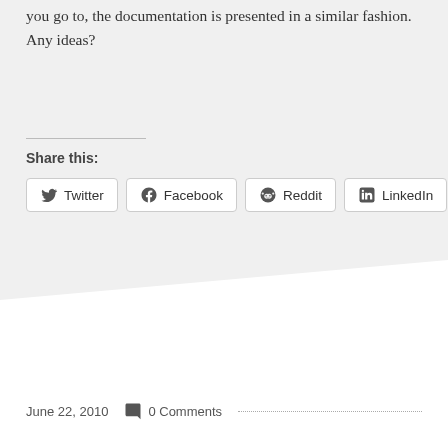you go to, the documentation is presented in a similar fashion. Any ideas?
Share this:
[Figure (other): Social share buttons for Twitter, Facebook, Reddit, and LinkedIn]
June 22, 2010   0 Comments